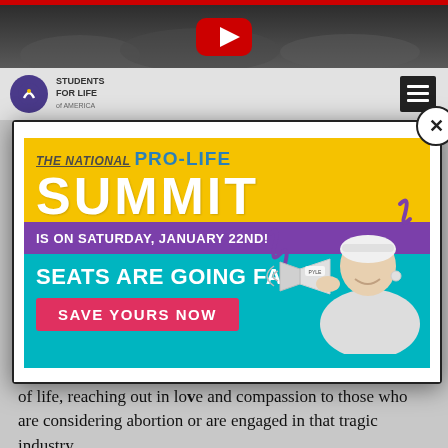[Figure (screenshot): Top navigation bar of a website with Students for Life of America logo and hamburger menu button, plus a dark photographic header image with a YouTube play button overlay]
[Figure (infographic): Modal popup advertisement for The National Pro-Life Summit on Saturday January 22nd with yellow, purple and teal color scheme, featuring text 'SEATS ARE GOING FAST!' and 'SAVE YOURS NOW' button, with image of woman with megaphone]
that educate, equip and empower students to build a culture of life, reaching out in love and compassion to those who are considering abortion or are engaged in that tragic industry.